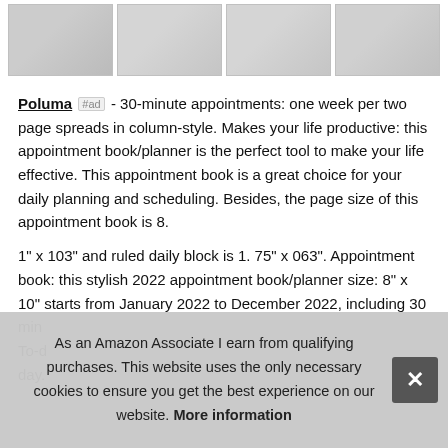[Figure (photo): Four thumbnail product images of a planner/appointment book arranged in a horizontal strip]
Poluma #ad - 30-minute appointments: one week per two page spreads in column-style. Makes your life productive: this appointment book/planner is the perfect tool to make your life effective. This appointment book is a great choice for your daily planning and scheduling. Besides, the page size of this appointment book is 8.
1" x 103" and ruled daily block is 1. 75" x 063". Appointment book: this stylish 2022 appointment book/planner size: 8" x 10" starts from January 2022 to December 2022, including 30 min To-do day.
As an Amazon Associate I earn from qualifying purchases. This website uses the only necessary cookies to ensure you get the best experience on our website. More information